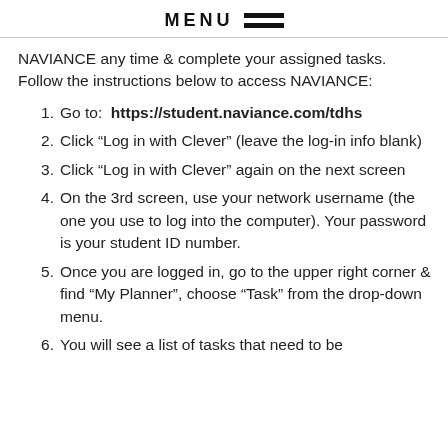MENU
NAVIANCE any time & complete your assigned tasks. Follow the instructions below to access NAVIANCE:
Go to: https://student.naviance.com/tdhs
Click “Log in with Clever” (leave the log-in info blank)
Click “Log in with Clever” again on the next screen
On the 3rd screen, use your network username (the one you use to log into the computer). Your password is your student ID number.
Once you are logged in, go to the upper right corner & find “My Planner”, choose “Task” from the drop-down menu.
You will see a list of tasks that need to be